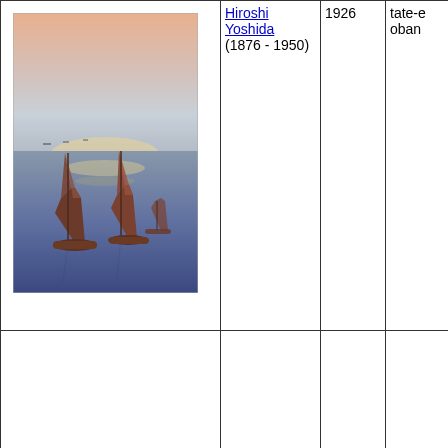[Figure (photo): Japanese woodblock print showing sailboats (junks) on water with a glowing sunset sky, muted pink and blue tones]
Hiroshi Yoshida (1876 - 1950)
1926
tate-e oban